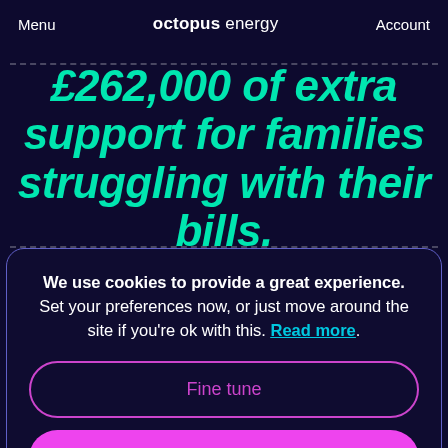Menu  octopus energy  Account
£262,000 of extra support for families struggling with their bills.
We use cookies to provide a great experience. Set your preferences now, or just move around the site if you're ok with this. Read more.
Fine tune
That's cool